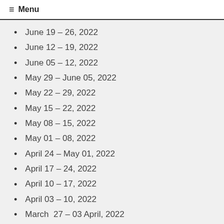≡ Menu
June 19 – 26, 2022
June 12 – 19, 2022
June 05 – 12, 2022
May 29 – June 05, 2022
May 22 – 29, 2022
May 15 – 22, 2022
May 08 – 15, 2022
May 01 – 08, 2022
April 24 – May 01, 2022
April 17 – 24, 2022
April 10 – 17, 2022
April 03 – 10, 2022
March  27 – 03 April, 2022
March 20 – 27, 2022
March 13 – 20, 2022
March 06 – 13, 2022
February 27 – March 06, 2022